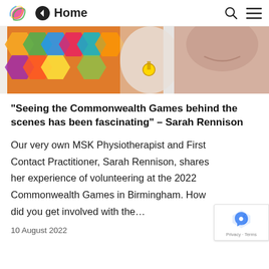Home
[Figure (photo): Person wearing a medal and colorful sports gear at the Commonwealth Games]
“Seeing the Commonwealth Games behind the scenes has been fascinating” – Sarah Rennison
Our very own MSK Physiotherapist and First Contact Practitioner, Sarah Rennison, shares her experience of volunteering at the 2022 Commonwealth Games in Birmingham. How did you get involved with the…
10 August 2022